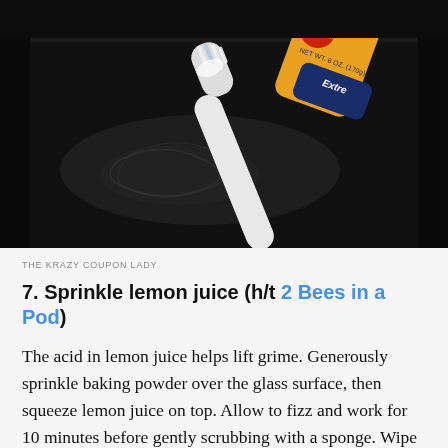[Figure (photo): Photo of a white toothbrush with toothpaste bristles resting in a dark/black sink, with an Arm & Hammer toothpaste tube visible in the upper right corner. The sink surface is black and wet.]
THE KRAZY COUPON LADY
7. Sprinkle lemon juice (h/t 2 Bees in a Pod)
The acid in lemon juice helps lift grime. Generously sprinkle baking powder over the glass surface, then squeeze lemon juice on top. Allow to fizz and work for 10 minutes before gently scrubbing with a sponge. Wipe